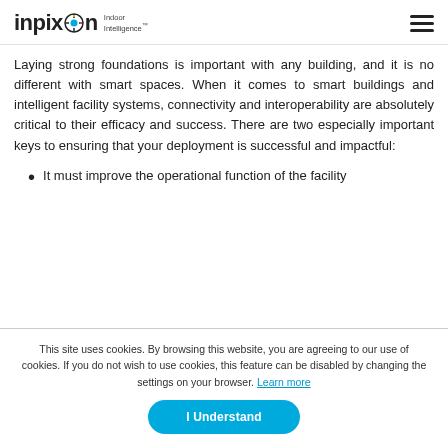inpixon Indoor Intelligence
Laying strong foundations is important with any building, and it is no different with smart spaces. When it comes to smart buildings and intelligent facility systems, connectivity and interoperability are absolutely critical to their efficacy and success. There are two especially important keys to ensuring that your deployment is successful and impactful:
It must improve the operational function of the facility
This site uses cookies. By browsing this website, you are agreeing to our use of cookies. If you do not wish to use cookies, this feature can be disabled by changing the settings on your browser. Learn more
I Understand